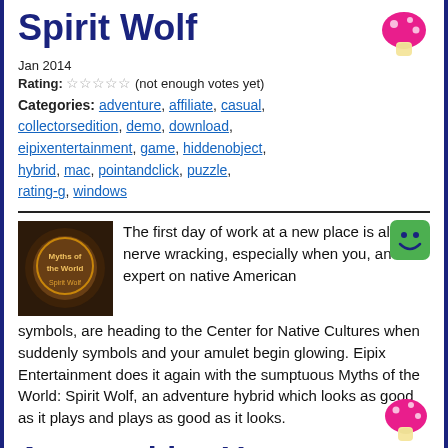Spirit Wolf
Jan 2014
Rating: ☆☆☆☆☆ (not enough votes yet)
Categories: adventure, affiliate, casual, collectorsedition, demo, download, eipixentertainment, game, hiddenobject, hybrid, mac, pointandclick, puzzle, rating-g, windows
[Figure (photo): Thumbnail image of Myths of the World: Spirit Wolf game]
The first day of work at a new place is always nerve wracking, especially when you, an expert on native American symbols, are heading to the Center for Native Cultures when suddenly symbols and your amulet begin glowing. Eipix Entertainment does it again with the sumptuous Myths of the World: Spirit Wolf, an adventure hybrid which looks as good as it plays and plays as good as it looks.
Amaranthine Voyage: The Living Mountain
Jan 2014